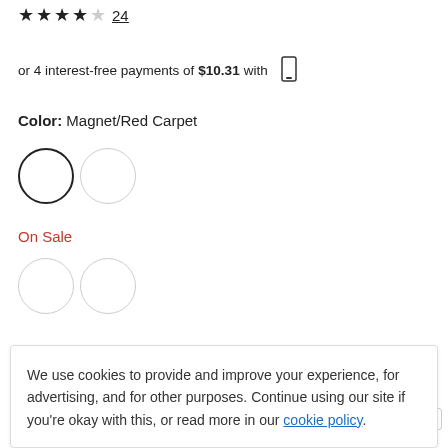★★★½☆ 24
or 4 interest-free payments of $10.31 with
Color: Magnet/Red Carpet
[Figure (other): Two circular color swatches: first with dark border (selected), second with light border]
On Sale
[Figure (other): Two circular color swatches with light gray border (sale items)]
Size Guide
Size:
We use cookies to provide and improve your experience, for advertising, and for other purposes. Continue using our site if you're okay with this, or read more in our cookie policy.